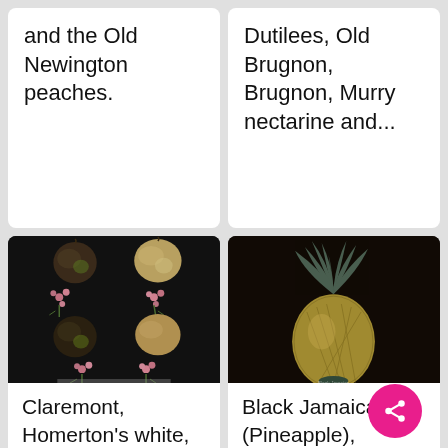and the Old Newington peaches.
Dutilees, Old Brugnon, Brugnon, Murry nectarine and...
[Figure (illustration): Botanical illustration of peaches and flowers on dark background — showing several peaches and pink blossoms arranged on a black ground]
Claremont, Homerton's white,
[Figure (illustration): Botanical illustration of a pineapple (Black Jamaica variety) on dark background, showing the full fruit with crown leaves]
Black Jamaica (Pineapple),